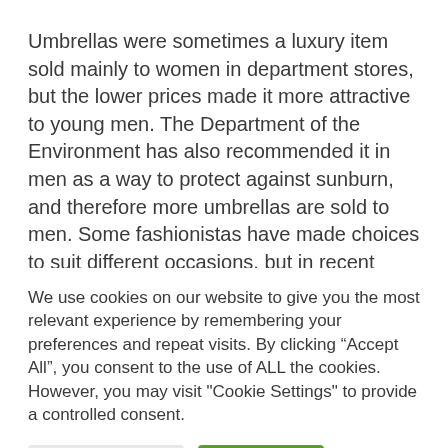Umbrellas were sometimes a luxury item sold mainly to women in department stores, but the lower prices made it more attractive to young men. The Department of the Environment has also recommended it in men as a way to protect against sunburn, and therefore more umbrellas are sold to men. Some fashionistas have made choices to suit different occasions, but in recent
We use cookies on our website to give you the most relevant experience by remembering your preferences and repeat visits. By clicking “Accept All”, you consent to the use of ALL the cookies. However, you may visit "Cookie Settings" to provide a controlled consent.
Cookie Settings | Accept All